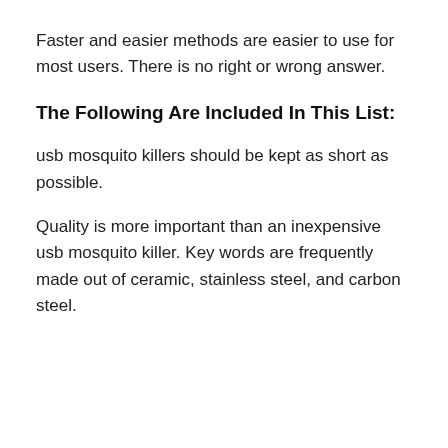Faster and easier methods are easier to use for most users. There is no right or wrong answer.
The Following Are Included In This List:
usb mosquito killers should be kept as short as possible.
Quality is more important than an inexpensive usb mosquito killer. Key words are frequently made out of ceramic, stainless steel, and carbon steel.